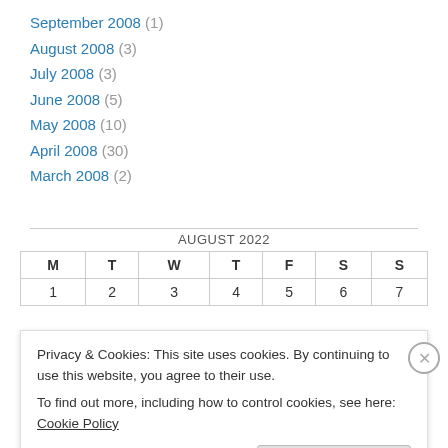September 2008 (1)
August 2008 (3)
July 2008 (3)
June 2008 (5)
May 2008 (10)
April 2008 (30)
March 2008 (2)
| M | T | W | T | F | S | S |
| --- | --- | --- | --- | --- | --- | --- |
| 1 | 2 | 3 | 4 | 5 | 6 | 7 |
Privacy & Cookies: This site uses cookies. By continuing to use this website, you agree to their use. To find out more, including how to control cookies, see here: Cookie Policy
Close and accept